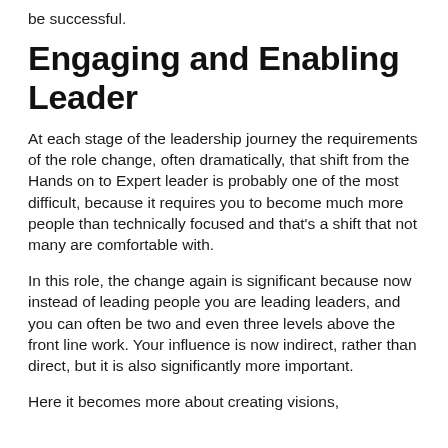be successful.
Engaging and Enabling Leader
At each stage of the leadership journey the requirements of the role change, often dramatically, that shift from the Hands on to Expert leader is probably one of the most difficult, because it requires you to become much more people than technically focused and that's a shift that not many are comfortable with.
In this role, the change again is significant because now instead of leading people you are leading leaders, and you can often be two and even three levels above the front line work. Your influence is now indirect, rather than direct, but it is also significantly more important.
Here it becomes more about creating visions,